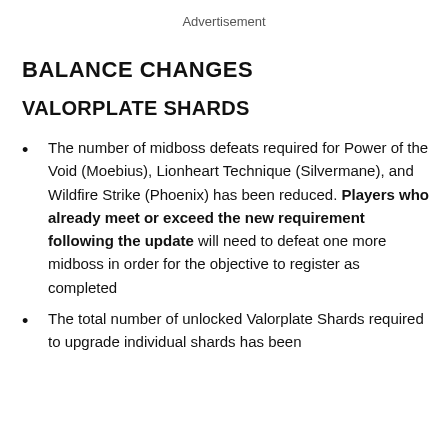Advertisement
BALANCE CHANGES
VALORPLATE SHARDS
The number of midboss defeats required for Power of the Void (Moebius), Lionheart Technique (Silvermane), and Wildfire Strike (Phoenix) has been reduced. Players who already meet or exceed the new requirement following the update will need to defeat one more midboss in order for the objective to register as completed
The total number of unlocked Valorplate Shards required to upgrade individual shards has been…